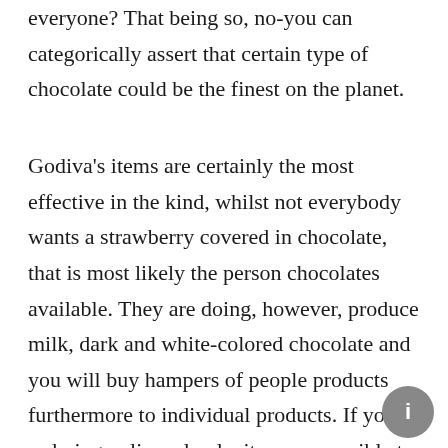everyone? That being so, no-you can categorically assert that certain type of chocolate could be the finest on the planet.
Godiva's items are certainly the most effective in the kind, whilst not everybody wants a strawberry covered in chocolate, that is most likely the person chocolates available. They are doing, however, produce milk, dark and white-colored chocolate and you will buy hampers of people products furthermore to individual products. If you're ordering online, clearly, it seems sensible to buy way several bar. If you buy greater than $60 within the products, then you definitely certainly certainly get free of charge.